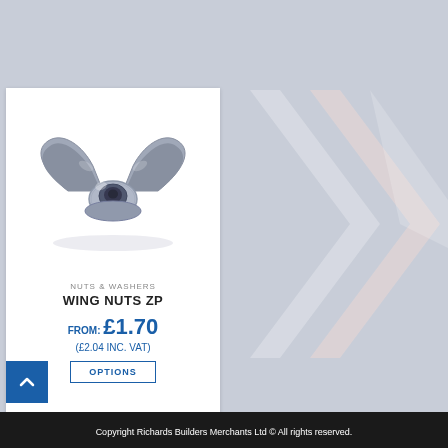[Figure (illustration): A zinc-plated wing nut photographed on white background, showing two butterfly wings on either side of a central threaded nut body]
NUTS & WASHERS
WING NUTS ZP
FROM: £1.70
(£2.04 INC. VAT)
OPTIONS
Copyright Richards Builders Merchants Ltd © All rights reserved.